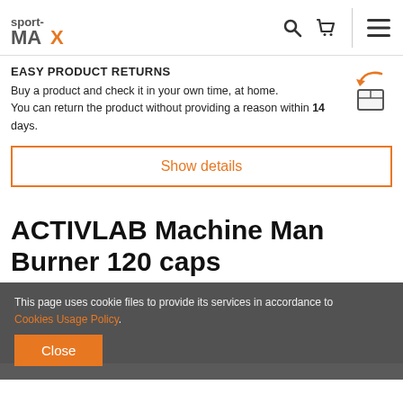[Figure (logo): sport-MAX logo in orange and grey]
EASY PRODUCT RETURNS
Buy a product and check it in your own time, at home.
You can return the product without providing a reason within 14 days.
Show details
ACTIVLAB Machine Man Burner 120 caps
This page uses cookie files to provide its services in accordance to Cookies Usage Policy.
Close
proper energy-yielding metabolism. Chromium